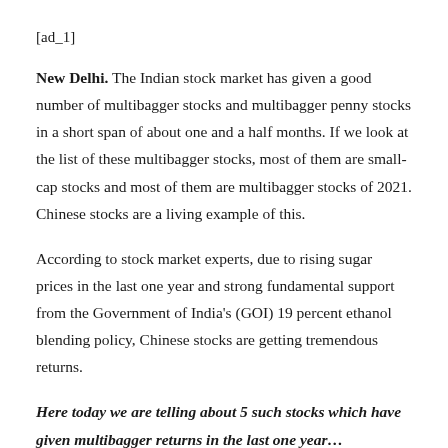[ad_1]
New Delhi. The Indian stock market has given a good number of multibagger stocks and multibagger penny stocks in a short span of about one and a half months. If we look at the list of these multibagger stocks, most of them are small-cap stocks and most of them are multibagger stocks of 2021. Chinese stocks are a living example of this.
According to stock market experts, due to rising sugar prices in the last one year and strong fundamental support from the Government of India's (GOI) 19 percent ethanol blending policy, Chinese stocks are getting tremendous returns.
Here today we are telling about 5 such stocks which have given multibagger returns in the last one year…